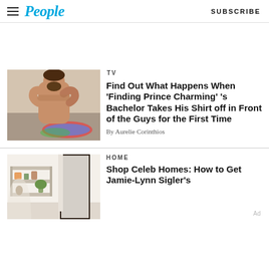People | SUBSCRIBE
[Figure (photo): Man taking off shirt outdoors by a pool]
TV
Find Out What Happens When ‘Finding Prince Charming’ ’s Bachelor Takes His Shirt off in Front of the Guys for the First Time
By Aurelie Corinthios
[Figure (photo): Interior home scene with shelving, curtains, and plants]
HOME
Shop Celeb Homes: How to Get Jamie-Lynn Sigler’s